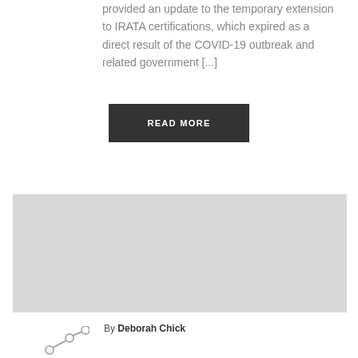provided an update to the temporary extension to IRATA certifications, which expired as a direct result of the COVID-19 outbreak and related government [...]
READ MORE
[Figure (photo): Light grey rectangular placeholder image]
By Deborah Chick